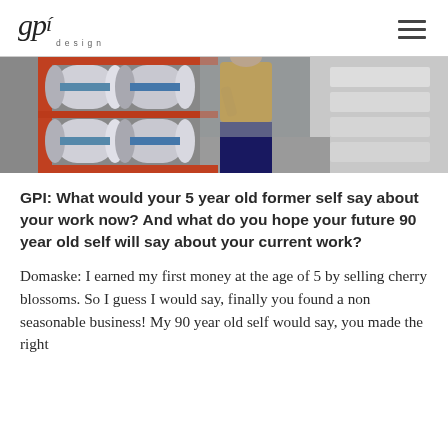gpi design
[Figure (photo): A person in a yellow jacket working near industrial rollers/cylinders in a factory or printing facility. The rollers are silver/grey with blue ends, mounted on a red frame structure. Background shows a warehouse with stacked white bags.]
GPI: What would your 5 year old former self say about your work now? And what do you hope your future 90 year old self will say about your current work?
Domaske: I earned my first money at the age of 5 by selling cherry blossoms. So I guess I would say, finally you found a non seasonable business! My 90 year old self would say, you made the right